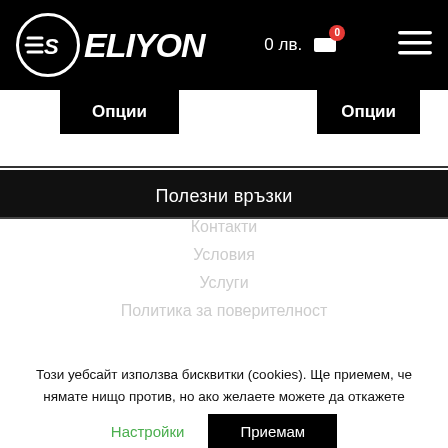ES ELIYON — 0 лв. [cart] [menu]
Опции
Опции
Полезни връзки
Контакти
Условия
Услуги
Политика за поверителност
Този уебсайт използва бисквитки (cookies). Ще приемем, че нямате нищо против, но ако желаете можете да откажете използването на бисквитки.   Прочети повече
Настройки   Приемам